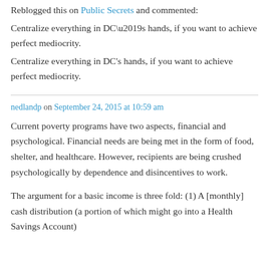Reblogged this on Public Secrets and commented:
Centralize everything in DC’s hands, if you want to achieve perfect mediocrity.
nedlandp on September 24, 2015 at 10:59 am
Current poverty programs have two aspects, financial and psychological. Financial needs are being met in the form of food, shelter, and healthcare. However, recipients are being crushed psychologically by dependence and disincentives to work.
The argument for a basic income is three fold: (1) A [monthly] cash distribution (a portion of which might go into a Health Savings Account)